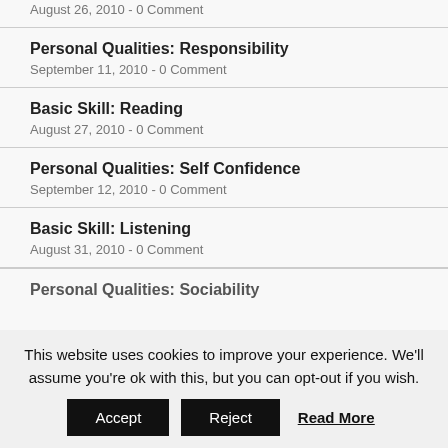August 26, 2010 - 0 Comment
Personal Qualities: Responsibility
September 11, 2010 - 0 Comment
Basic Skill: Reading
August 27, 2010 - 0 Comment
Personal Qualities: Self Confidence
September 12, 2010 - 0 Comment
Basic Skill: Listening
August 31, 2010 - 0 Comment
Personal Qualities: Sociability
This website uses cookies to improve your experience. We'll assume you're ok with this, but you can opt-out if you wish.
Accept  Reject  Read More